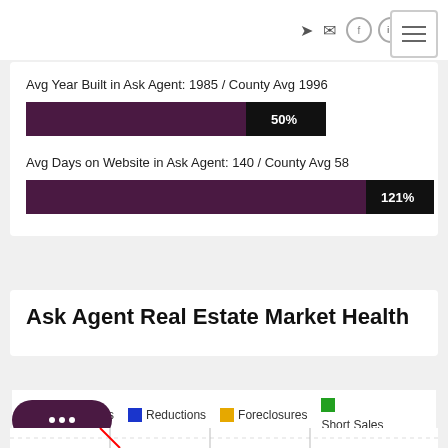Avg Year Built in Ask Agent: 1985 / County Avg 1996
[Figure (bar-chart): Avg Year Built Comparison]
Avg Days on Website in Ask Agent: 140 / County Avg 58
[Figure (bar-chart): Avg Days on Website Comparison]
Ask Agent Real Estate Market Health
New Listings   Reductions   Foreclosures   Short Sales